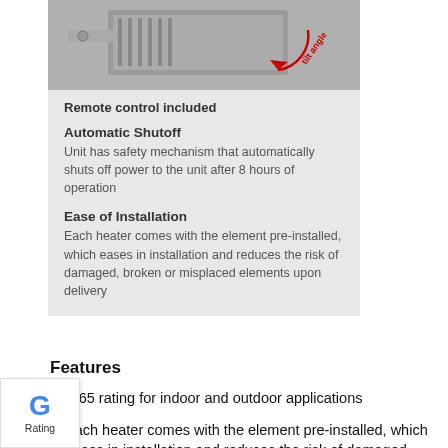[Figure (photo): Photo of a heater unit showing tilt angle indicator with a red arrow, partially visible at top of gray panel]
Remote control included
Automatic Shutoff
Unit has safety mechanism that automatically shuts off power to the unit after 8 hours of operation
Ease of Installation
Each heater comes with the element pre-installed, which eases in installation and reduces the risk of damaged, broken or misplaced elements upon delivery
Features
IP65 rating for indoor and outdoor applications
Each heater comes with the element pre-installed, which eases in installation and reduces the risk of damaged, broken or misplaced elements upon delivery